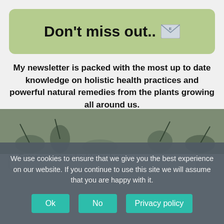Don't miss out..  ✉
My newsletter is packed with the most up to date knowledge on holistic health practices and powerful natural remedies from the plants growing all around us.
Enter your name here...
Enter your email address here…
We use cookies to ensure that we give you the best experience on our website. If you continue to use this site we will assume that you are happy with it.
Ok
No
Privacy policy